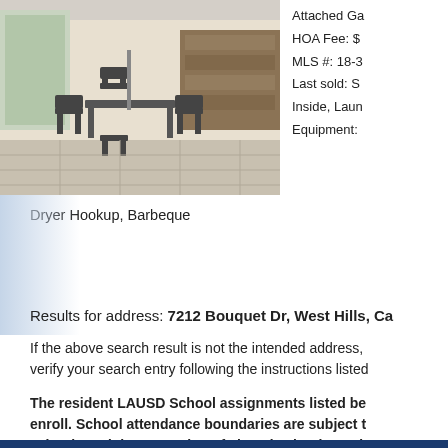[Figure (photo): Outdoor patio area with dining table and chairs, stone wall in background, part of a residential property listing]
Attached Ga HOA Fee: $ MLS #: 18-3 Last sold: S Inside, Laun Equipment:
Dryer Hookup, Barbeque
Results for address: 7212 Bouquet Dr, West Hills, Ca
If the above search result is not the intended address, verify your search entry following the instructions listed
The resident LAUSD School assignments listed be enroll. School attendance boundaries are subject t schools and the reopening of closed schools, and effective in the upcoming school year and the area